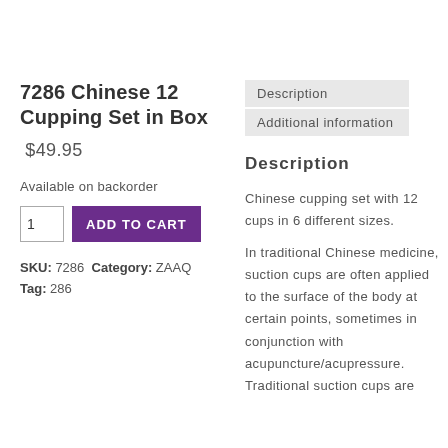7286 Chinese 12 Cupping Set in Box
$49.95
Available on backorder
SKU: 7286 Category: ZAAQ Tag: 286
Description
Additional information
Description
Chinese cupping set with 12 cups in 6 different sizes.
In traditional Chinese medicine, suction cups are often applied to the surface of the body at certain points, sometimes in conjunction with acupuncture/acupressure. Traditional suction cups are